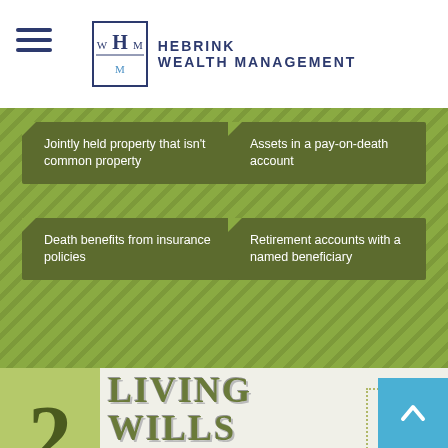Hebrink Wealth Management
Jointly held property that isn't common property
Assets in a pay-on-death account
Death benefits from insurance policies
Retirement accounts with a named beneficiary
2 LIVING WILLS
These aren't to do with what happens after you die, but what to do before you die.
Living wills outline very clear instructions